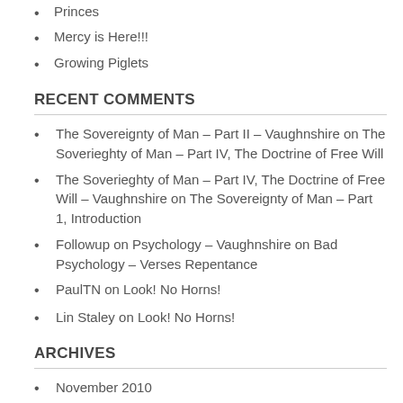Princes
Mercy is Here!!!
Growing Piglets
RECENT COMMENTS
The Sovereignty of Man – Part II – Vaughnshire on The Soverieghty of Man – Part IV, The Doctrine of Free Will
The Soverieghty of Man – Part IV, The Doctrine of Free Will – Vaughnshire on The Sovereignty of Man – Part 1, Introduction
Followup on Psychology – Vaughnshire on Bad Psychology – Verses Repentance
PaulTN on Look! No Horns!
Lin Staley on Look! No Horns!
ARCHIVES
November 2010
September 2010
August 2010
July 2010
June 2010
May 2010